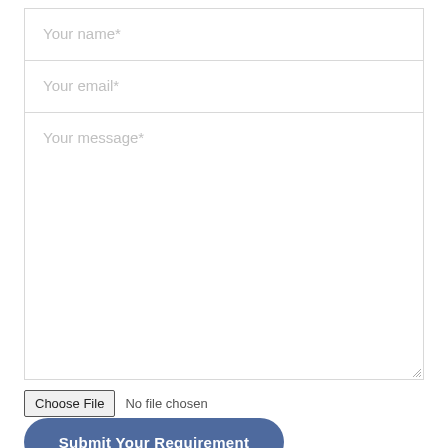Your name*
Your email*
Your message*
Choose File  No file chosen
Submit Your Requirement